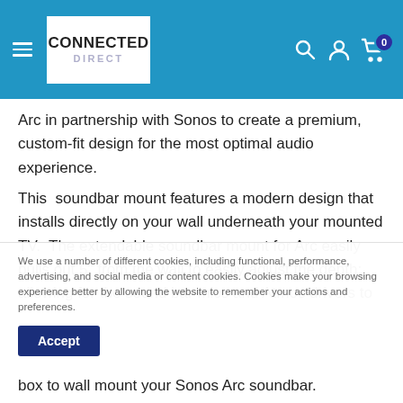Connected Direct — website header with navigation
Arc in partnership with Sonos to create a premium, custom-fit design for the most optimal audio experience.
This soundbar mount features a modern design that installs directly on your wall underneath your mounted TV. The extendable soundbar mount for Arc easily pulls out 5" from the wall to easily adjust the depth; allowing for the sound bar mics and Atmos drivers to
We use a number of different cookies, including functional, performance, advertising, and social media or content cookies. Cookies make your browsing experience better by allowing the website to remember your actions and preferences.
Accept
box to wall mount your Sonos Arc soundbar.